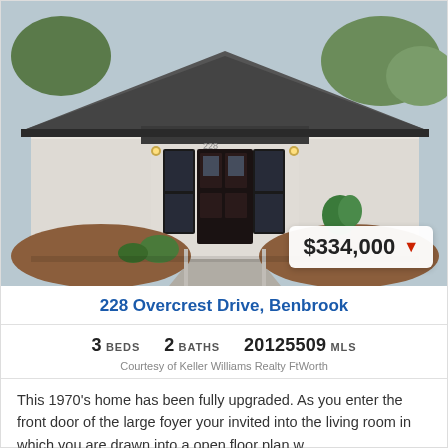[Figure (photo): Front exterior of a white stucco 1970s single-story home with dark double front doors, sidelights, concrete walkway, and mulched landscaping. A price badge reading $334,000 with a red downward triangle is overlaid in the lower-right corner.]
228 Overcrest Drive, Benbrook
3 BEDS   2 BATHS   20125509 MLS
Courtesy of Keller Williams Realty FtWorth
This 1970's home has been fully upgraded. As you enter the front door of the large foyer your invited into the living room in which you are drawn into a open floor plan w...